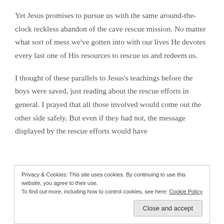Yet Jesus promises to pursue us with the same around-the-clock reckless abandon of the cave rescue mission. No matter what sort of mess we've gotten into with our lives He devotes every last one of His resources to rescue us and redeem us.
I thought of these parallels to Jesus's teachings before the boys were saved, just reading about the rescue efforts in general. I prayed that all those involved would come out the other side safely. But even if they had not, the message displayed by the rescue efforts would have
Privacy & Cookies: This site uses cookies. By continuing to use this website, you agree to their use.
To find out more, including how to control cookies, see here: Cookie Policy

[Close and accept]